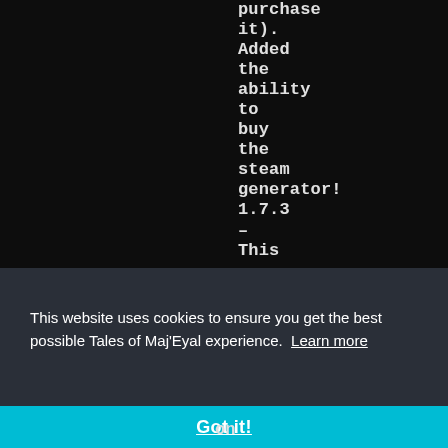purchase it). Added the ability to buy the steam generator! 1.7.3 – This
This website uses cookies to ensure you get the best possible Tales of Maj'Eyal experience. Learn more
Got it!
on